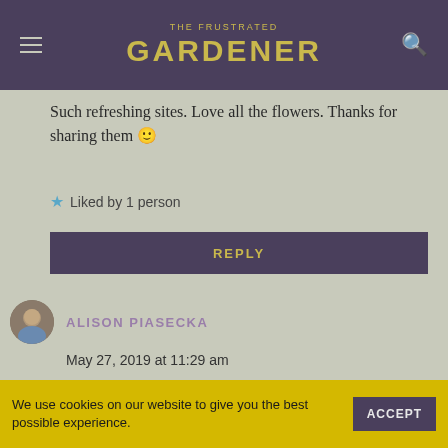THE FRUSTRATED GARDENER
Such refreshing sites. Love all the flowers. Thanks for sharing them 🙂
Liked by 1 person
REPLY
ALISON PIASECKA
May 27, 2019 at 11:29 am
What a great week! Good for you! I loved reading the succinct descriptions and your shopping achievements-fascinating....do it all again please!
We use cookies on our website to give you the best possible experience.